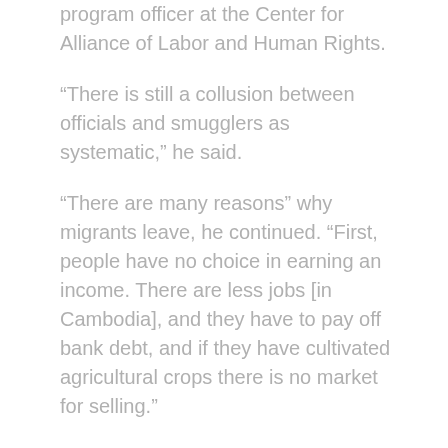program officer at the Center for Alliance of Labor and Human Rights.
“There is still a collusion between officials and smugglers as systematic,” he said.
“There are many reasons” why migrants leave, he continued. “First, people have no choice in earning an income. There are less jobs [in Cambodia], and they have to pay off bank debt, and if they have cultivated agricultural crops there is no market for selling.”
Soum Chankea, Banteay Meanchey provincial coordinator at rights group Adhoc, expressed concern about Cambodia’s ability to contain the spread of COVID-19, as